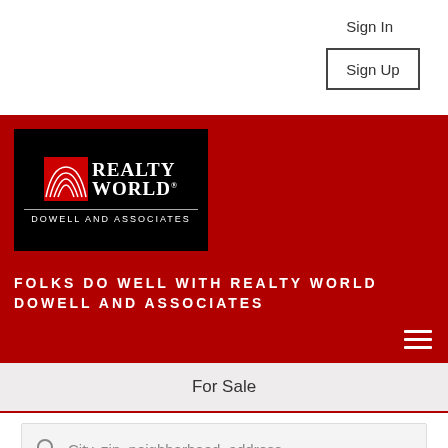Sign In
Sign Up
[Figure (logo): Realty World Dowell and Associates logo — black background with red and white globe/arch motif and white text]
FOLKS DO WELL WITH REALTY WORLD DOWELL AND ASSOCIATES
For Sale
City, zip, neighborhood, address…